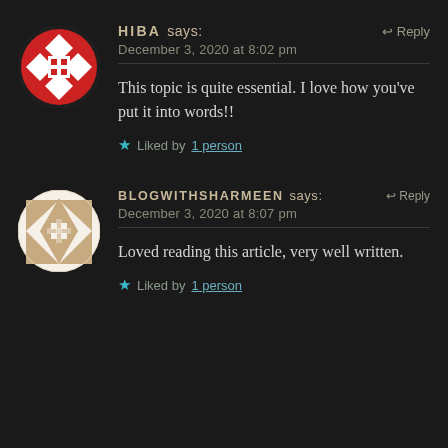[Figure (illustration): Circular avatar with red and white geometric cross/diamond pattern on dark background]
HIBA says:
December 3, 2020 at 8:02 pm
This topic is quite essential. I love how you've put it into words!!
Liked by 1 person
[Figure (illustration): Circular avatar with tan/beige geometric quilt pattern on white background]
BLOGWITHSHARMEEN says:
December 3, 2020 at 8:07 pm
Loved reading this article, very well written.
Liked by 1 person